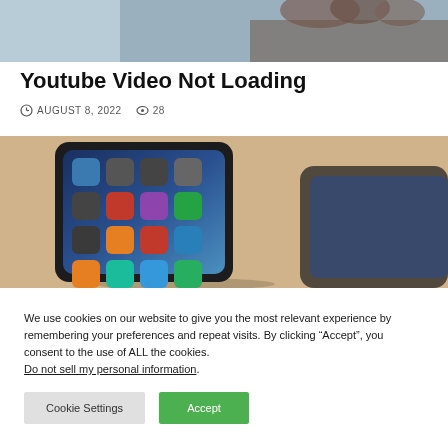[Figure (photo): Top banner photo showing a hand/fingers, with a 'Tech Table' badge overlaid in teal]
Youtube Video Not Loading
AUGUST 8, 2022   28
[Figure (photo): Photo of a smartphone (iPhone) with app icons on a beige/tan surface]
We use cookies on our website to give you the most relevant experience by remembering your preferences and repeat visits. By clicking “Accept”, you consent to the use of ALL the cookies. Do not sell my personal information.
Cookie Settings   Accept